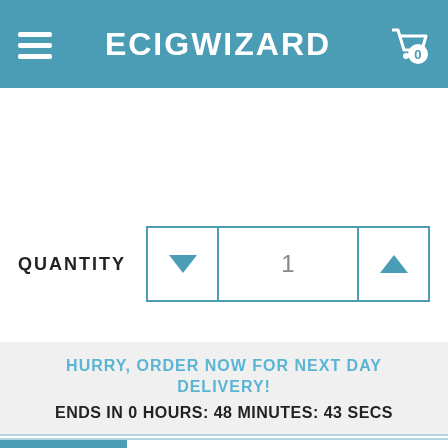ECIGWIZARD
QUANTITY 1
ADD TO BAG
HURRY, ORDER NOW FOR NEXT DAY DELIVERY!
ENDS IN 0 HOURS: 48 MINUTES: 43 SECS
Rewards  E STOCK